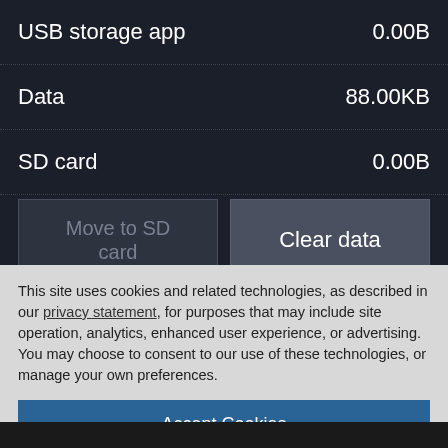USB storage app    0.00B
Data    88.00KB
SD card    0.00B
[Figure (screenshot): Two buttons: 'Move to SD card' (disabled/greyed) and 'Clear data' (active grey button)]
CACHE
This site uses cookies and related technologies, as described in our privacy statement, for purposes that may include site operation, analytics, enhanced user experience, or advertising. You may choose to consent to our use of these technologies, or manage your own preferences.
Accept Cookies
More Information
Privacy Policy | Powered by: TrustArc